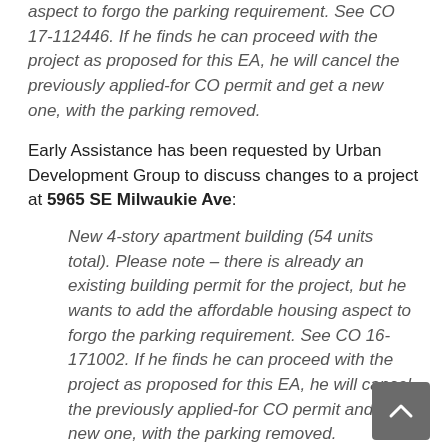aspect to forgo the parking requirement. See CO 17-112446. If he finds he can proceed with the project as proposed for this EA, he will cancel the previously applied-for CO permit and get a new one, with the parking removed.
Early Assistance has been requested by Urban Development Group to discuss changes to a project at 5965 SE Milwaukie Ave:
New 4-story apartment building (54 units total). Please note – there is already an existing building permit for the project, but he wants to add the affordable housing aspect to forgo the parking requirement. See CO 16-171002. If he finds he can proceed with the project as proposed for this EA, he will cancel the previously applied-for CO permit and get a new one, with the parking removed.